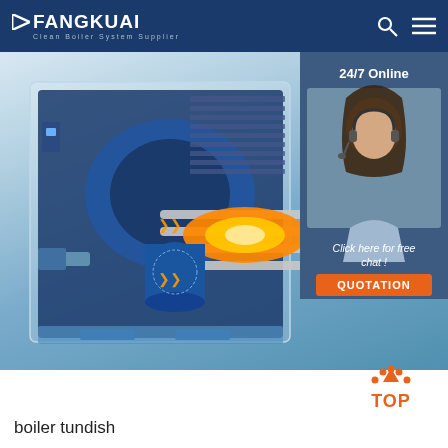FANGKUAI — Clean Boiler System Supplier
[Figure (photo): Industrial boiler cross-section diagram showing internal components including cylindrical combustion chamber with orange flame, blue housing, heat exchanger tubes, and mechanical components on a light background. Overlay on the right side shows a 24/7 online customer service representative with headset, and a quotation button.]
boiler tundish